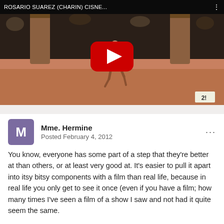[Figure (screenshot): YouTube video thumbnail showing a ballet dancer performing on stage, with title 'ROSARIO SUAREZ (CHARIN) CISNE...' in the top bar and a red YouTube play button overlay. A channel badge showing '2!' is visible in the bottom right corner.]
Mme. Hermine
Posted February 4, 2012
You know, everyone has some part of a step that they're better at than others, or at least very good at. It's easier to pull it apart into itsy bitsy components with a film than real life, because in real life you only get to see it once (even if you have a film; how many times I've seen a film of a show I saw and not had it quite seem the same.